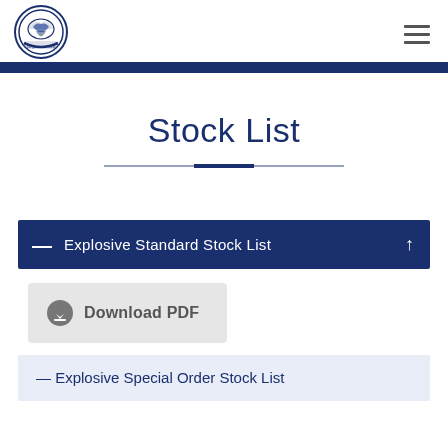Logo and navigation header
Stock List
Explosive Standard Stock List
Download PDF
Explosive Special Order Stock List